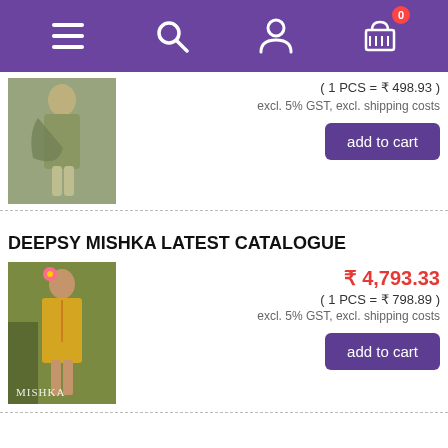[Figure (screenshot): Purple navigation header bar with hamburger menu, search icon, user icon, and shopping cart icon with badge showing 0]
[Figure (photo): Model wearing a green/olive colored salwar suit with dupatta]
( 1 PCS = ₹ 498.93 )
excl. 5% GST, excl. shipping costs
add to cart
DEEPSY MISHKA LATEST CATALOGUE
[Figure (photo): Model wearing a yellow/mustard colored salwar kameez with pink flower in hair, text MISHKA at bottom]
₹ 4,793.33
( 1 PCS = ₹ 798.89 )
excl. 5% GST, excl. shipping costs
add to cart